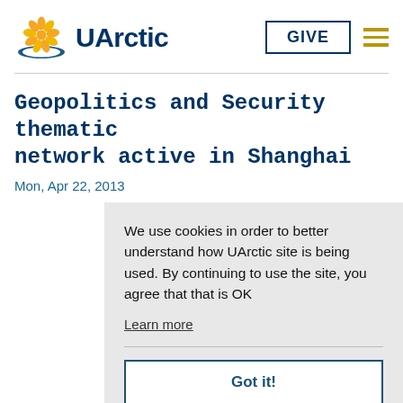[Figure (logo): UArctic logo with yellow/orange flower and blue arc, followed by bold dark blue text 'UArctic']
GIVE
Geopolitics and Security thematic network active in Shanghai
Mon, Apr 22, 2013
We use cookies in order to better understand how UArctic site is being used. By continuing to use the site, you agree that that is OK
Learn more
Got it!